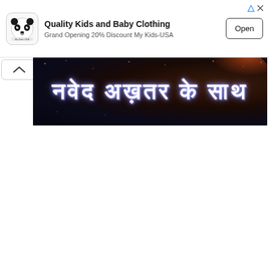[Figure (screenshot): Advertisement banner: panda logo icon, text 'Quality Kids and Baby Clothing / Grand Opening 20% Discount My Kids-USA', Open button, and ad indicator icons in top-right corner]
[Figure (screenshot): A dark banner image with Hindi/Devanagari text reading 'नवेद अख़तर के साथ' styled in silver/chrome letters on a dark cosmic/space background. Has a collapse chevron button to the left.]
[Figure (illustration): Orange circular chat/comment button with white speech bubble icon in the bottom-right corner]